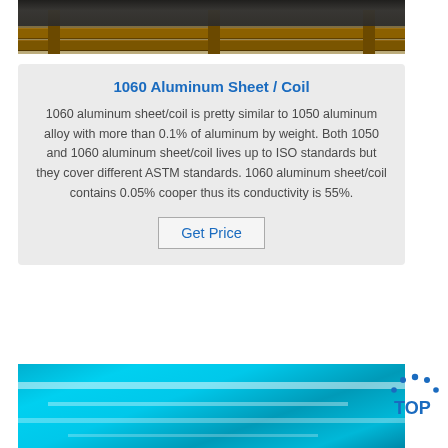[Figure (photo): Photo of aluminum coil/sheet on wooden pallet]
1060 Aluminum Sheet / Coil
1060 aluminum sheet/coil is pretty similar to 1050 aluminum alloy with more than 0.1% of aluminum by weight. Both 1050 and 1060 aluminum sheet/coil lives up to ISO standards but they cover different ASTM standards. 1060 aluminum sheet/coil contains 0.05% cooper thus its conductivity is 55%.
Get Price
[Figure (photo): Photo of blue-coated aluminum sheet/coil]